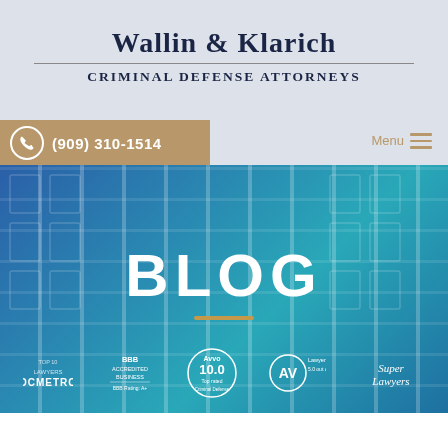WALLIN & KLARICH
Criminal Defense Attorneys
(909) 310-1514
Menu
BLOG
[Figure (logo): OCMETRO lawyers badge]
[Figure (logo): BBB Accredited Business A+ rating badge]
[Figure (logo): Avvo 10.0 Top rated badge]
[Figure (logo): AV Lawyers.com 5.0 out of 5.0 badge]
[Figure (logo): Super Lawyers badge]